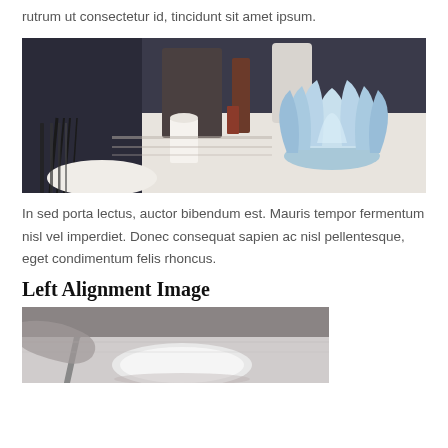rutrum ut consectetur id, tincidunt sit amet ipsum.
[Figure (photo): Restaurant table setting with a light blue folded napkin in the foreground and cutlery, white dishes visible in the background.]
In sed porta lectus, auctor bibendum est. Mauris tempor fermentum nisl vel imperdiet. Donec consequat sapien ac nisl pellentesque, eget condimentum felis rhoncus.
Left Alignment Image
[Figure (photo): Black and white photo of a plate with a spoon, partial view.]